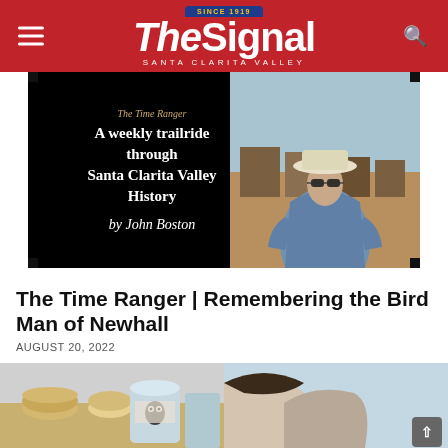The Signal — SANTA CLARITA VALLEY — SINCE 1919
[Figure (photo): Feature image with black background showing text: 'A weekly trailride through Santa Clarita Valley History by John Boston' alongside a photo of a man in a cowboy hat and sunglasses wearing a blue vest, standing outdoors near ranch buildings]
The Time Ranger | Remembering the Bird Man of Newhall
AUGUST 20, 2022
[Figure (photo): Two partial images at the bottom of the page — left shows pottery/ceramics items on a surface, right shows a partial view of a person]